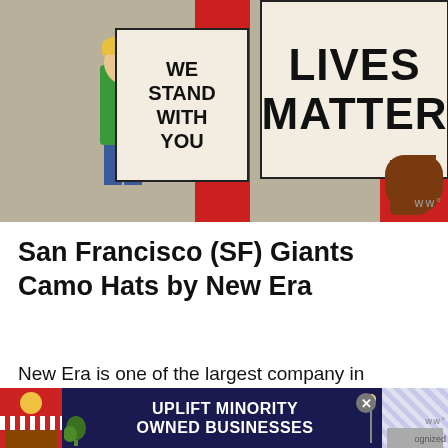[Figure (illustration): Painting showing a figure in a green shirt holding a sign reading 'WE STAND WITH YOU' and a brown hand holding a sign reading 'LIVES MATTER', with red curtains in the background.]
San Francisco (SF) Giants Camo Hats by New Era
New Era is one of the largest company in the world which manufactures headwear. New Era is the official cap brand of the world's biggest sporting leagues, including MLB, NBA, and NFL. 100 year manufacturing high quality products, New Era has a recognized
[Figure (infographic): Advertisement banner: UPLIFT MINORITY OWNED BUSINESSES on dark blue background with store graphics on left and right sides, and a close button.]